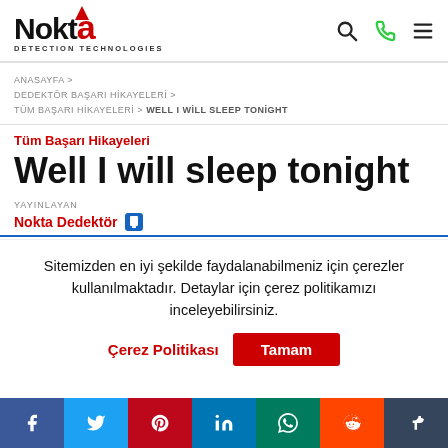Nokta Detection Technologies
ANASAYFA > DEDEKTÖR BAŞARI HİKAYELERİ > TÜM BAŞARI HİKAYELERİ > WELL I WILL SLEEP TONİGHT
Tüm Başarı Hikayeleri
Well I will sleep tonight
YAYINLAYAN
Nokta Dedektör
Sitemizden en iyi şekilde faydalanabilmeniz için çerezler kullanılmaktadır. Detaylar için çerez politikamızı inceleyebilirsiniz.
Çerez Politikası  Tamam